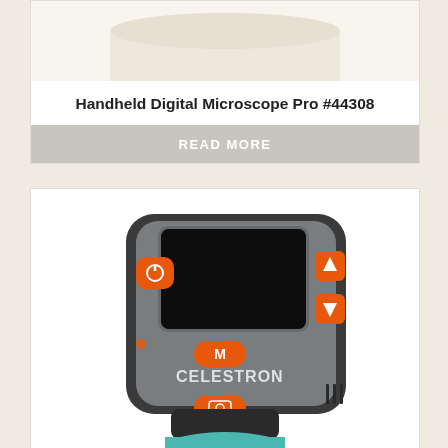[Figure (photo): Top portion of a handheld digital microscope product photo, showing the white/cream-colored top part of the device on a light background]
Handheld Digital Microscope Pro #44308
READ MORE
[Figure (photo): Celestron handheld digital microscope product photo showing a grey and black device with orange buttons including power, M, camera shutter, and navigation buttons. Has a built-in LCD screen. Brand name CELESTRON visible on front.]